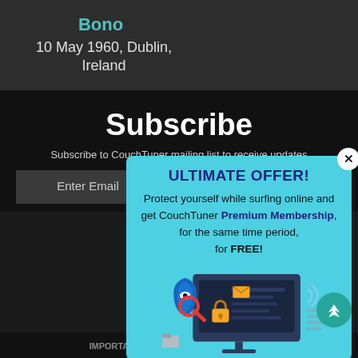Bono
10 May 1960, Dublin, Ireland
Subscribe
Subscribe to CouchTuner mailing list to receive updates
Enter Email
[Figure (screenshot): Popup advertisement with cyan background. Title 'ULTIMATE OFFER!' in dark blue bold text with a close X button. Body text: 'Protect yourself while surfing online and get CouchTuner Premium Membership, for the same time period, for FREE!' with an illustration of a computer monitor with security shield, padlock, and envelope icons. A teal scroll-to-top button is visible at bottom right.]
ULTIMATE OFFER!
Protect yourself while surfing online and get CouchTuner Premium Membership, for the same time period, for FREE!
IMPORTANT: This site pro